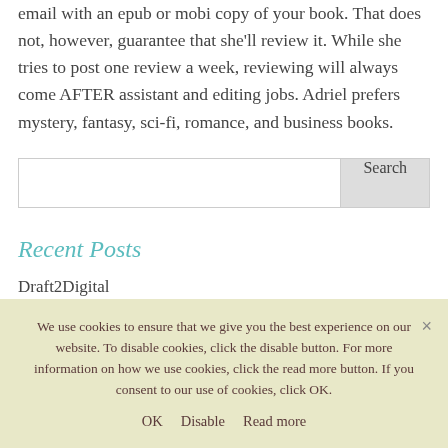email with an epub or mobi copy of your book. That does not, however, guarantee that she'll review it. While she tries to post one review a week, reviewing will always come AFTER assistant and editing jobs. Adriel prefers mystery, fantasy, sci-fi, romance, and business books.
Search
Recent Posts
Draft2Digital
We use cookies to ensure that we give you the best experience on our website. To disable cookies, click the disable button. For more information on how we use cookies, click the read more button. If you consent to our use of cookies, click OK.
OK   Disable   Read more